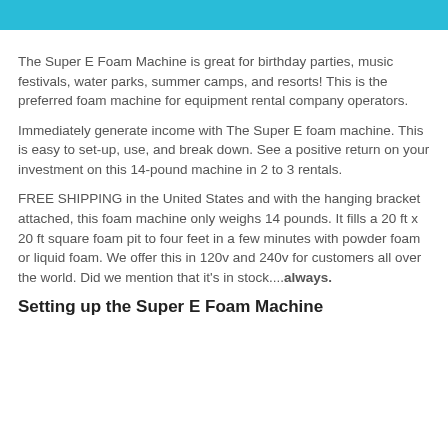[Figure (other): Blue header banner with product logo/title]
The Super E Foam Machine is great for birthday parties, music festivals, water parks, summer camps, and resorts! This is the preferred foam machine for equipment rental company operators.
Immediately generate income with The Super E foam machine. This is easy to set-up, use, and break down. See a positive return on your investment on this 14-pound machine in 2 to 3 rentals.
FREE SHIPPING in the United States and with the hanging bracket attached, this foam machine only weighs 14 pounds. It fills a 20 ft x 20 ft square foam pit to four feet in a few minutes with powder foam or liquid foam. We offer this in 120v and 240v for customers all over the world. Did we mention that it's in stock....always.
Setting up the Super E Foam Machine